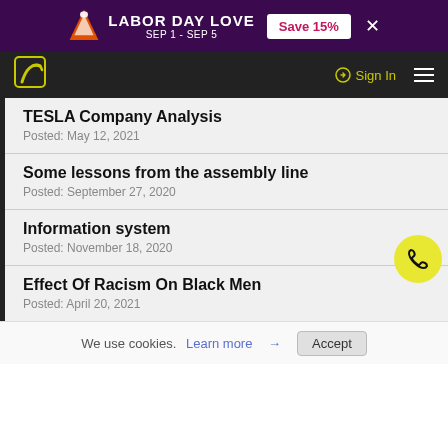[Figure (infographic): Purple promotional banner: LABOR DAY LOVE SEP 1 - SEP 5, Save 15% button, with traffic cone icon and X close button]
[Figure (infographic): Dark navigation bar with yellow-green leaf/pen logo on left, Sign In link and hamburger menu on right]
TESLA Company Analysis
Posted: May 12, 2021
Some lessons from the assembly line
Posted: September 27, 2020
Information system
Posted: November 18, 2020
Effect Of Racism On Black Men
Posted: April 20, 2021
We use cookies. Learn more → Accept